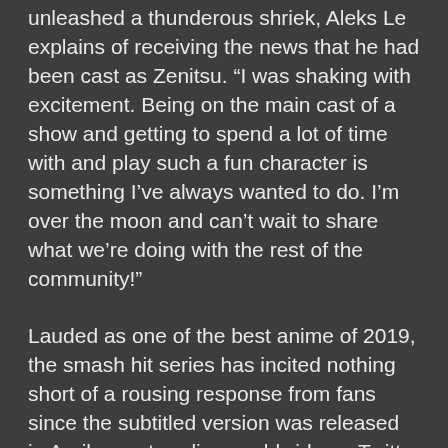unleashed a thunderous shriek, Aleks Le explains of receiving the news that he had been cast as Zenitsu. “I was shaking with excitement. Being on the main cast of a show and getting to spend a lot of time with and play such a fun character is something I’ve always wanted to do. I’m over the moon and can’t wait to share what we’re doing with the rest of the community!”
Lauded as one of the best anime of 2019, the smash hit series has incited nothing short of a rousing response from fans since the subtitled version was released in April even trending worldwide on Twitter in August. Much of the show’s success is credited to the brilliant work by studio ufotable, who’s previous projects include the popular Fate/stay night [Unlimited Bladeworks], Fate/Zero, and most recently the Fate/stay night [Heaven’s Feel] trilogy, and exceptional story